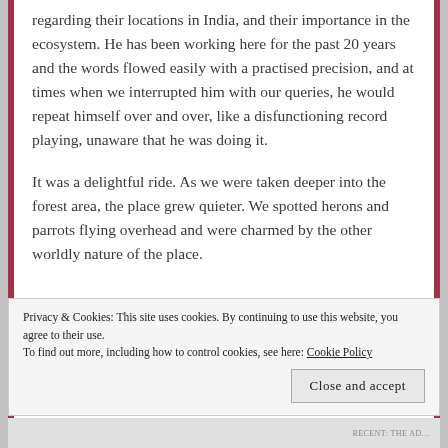regarding their locations in India, and their importance in the ecosystem. He has been working here for the past 20 years and the words flowed easily with a practised precision, and at times when we interrupted him with our queries, he would repeat himself over and over, like a disfunctioning record playing, unaware that he was doing it.

It was a delightful ride. As we were taken deeper into the forest area, the place grew quieter. We spotted herons and parrots flying overhead and were charmed by the other worldly nature of the place.
Privacy & Cookies: This site uses cookies. By continuing to use this website, you agree to their use.
To find out more, including how to control cookies, see here: Cookie Policy
Close and accept